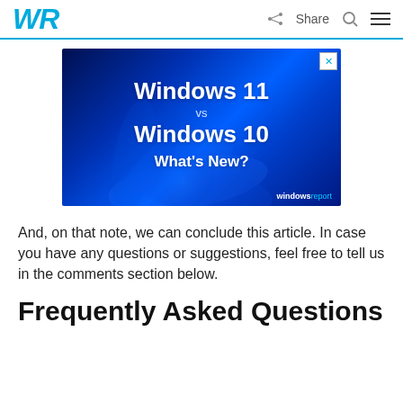WR  Share
[Figure (screenshot): Advertisement banner showing 'Windows 11 vs Windows 10 What's New?' with blue swirl/flower design on dark blue background, windowsreport branding at bottom right]
And, on that note, we can conclude this article. In case you have any questions or suggestions, feel free to tell us in the comments section below.
Frequently Asked Questions